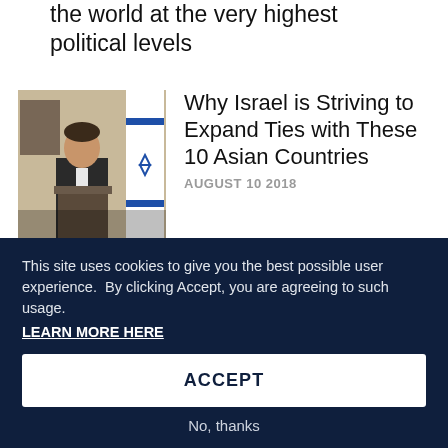the world at the very highest political levels
[Figure (photo): A man in a suit speaking at a podium with the Israeli flag in the background]
Why Israel is Striving to Expand Ties with These 10 Asian Countries
AUGUST 10 2018
Here's what you need to know about the Association of South East Asian Nations (ASEAN) and their ties with Israel and the Jewish
This site uses cookies to give you the best possible user experience.  By clicking Accept, you are agreeing to such usage.
LEARN MORE HERE
ACCEPT
No, thanks